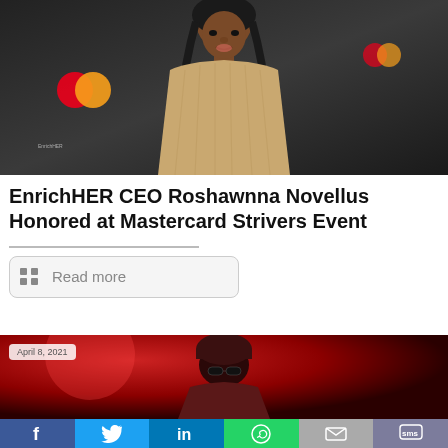[Figure (photo): Roshawnna Novellus standing in front of a dark branded backdrop featuring the Mastercard logo and EnrichHER branding, wearing a beige/gold ribbed sleeveless dress with braided hair]
EnrichHER CEO Roshawnna Novellus Honored at Mastercard Strivers Event
Read more
[Figure (photo): Man wearing dark beanie hat and sunglasses performing or posing under red stage lighting, with April 8, 2021 date badge overlay]
f  Twitter  in  WhatsApp  Email  SMS